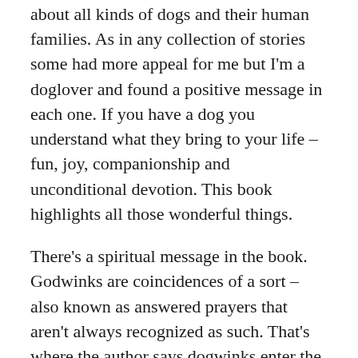about all kinds of dogs and their human families. As in any collection of stories some had more appeal for me but I'm a doglover and found a positive message in each one. If you have a dog you understand what they bring to your life – fun, joy, companionship and unconditional devotion. This book highlights all those wonderful things.
There's a spiritual message in the book. Godwinks are coincidences of a sort – also known as answered prayers that aren't always recognized as such. That's where the author says dogwinks enter the picture. There are times when dogs are the perfect way to deliver answered prayers! God and dog are a dream team. An interesting concept, for sure.